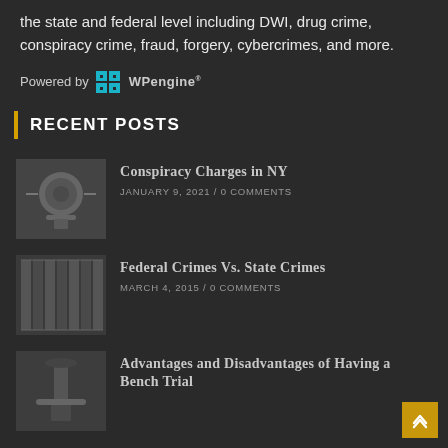the state and federal level including DWI, drug crime, conspiracy crime, fraud, forgery, cybercrimes, and more.
Powered by WP engine
RECENT POSTS
[Figure (photo): Close-up photo of scales of justice or legal instrument, grayscale]
Conspiracy Charges in NY
JANUARY 9, 2021 / 0 COMMENTS
[Figure (photo): Bookshelf with law books, grayscale]
Federal Crimes Vs. State Crimes
MARCH 4, 2015 / 0 COMMENTS
[Figure (photo): Judge's gavel, grayscale]
Advantages and Disadvantages of Having a Bench Trial